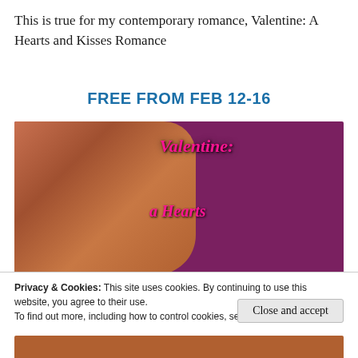This is true for my contemporary romance, Valentine: A Hearts and Kisses Romance
Free from Feb 12-16
[Figure (photo): Book cover for 'Valentine: A Hearts and Kisses Romance' showing a muscular shirtless man against a dark purple/magenta background with pink stylized title text]
Privacy & Cookies: This site uses cookies. By continuing to use this website, you agree to their use.
To find out more, including how to control cookies, see here: Cookie Policy
Close and accept